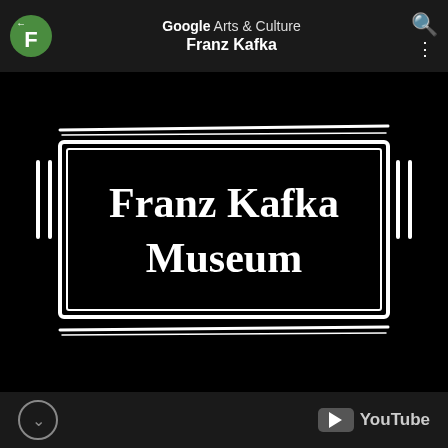Google Arts & Culture — Franz Kafka
[Figure (screenshot): Screenshot of Google Arts & Culture mobile app showing a video thumbnail for Franz Kafka Museum. Black background with white hand-drawn style box containing text 'Franz Kafka Museum' in decorative font. Horizontal lines above and below the box, vertical bracket marks on sides.]
YouTube